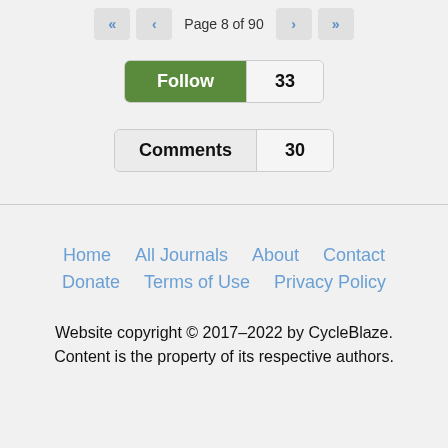Page 8 of 90
Follow  33
Comments  30
Home   All Journals   About   Contact   Donate   Terms of Use   Privacy Policy
Website copyright © 2017–2022 by CycleBlaze. Content is the property of its respective authors.